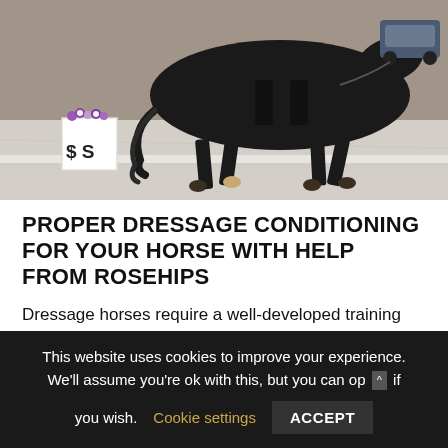[Figure (photo): A black dressage horse trotting in an arena, with a white letter S marker with flowers in the foreground and sandy arena ground.]
PROPER DRESSAGE CONDITIONING FOR YOUR HORSE WITH HELP FROM ROSEHIPS
Dressage horses require a well-developed training plan that is carried out slow and with consistency. It can take upwards of two months for a horse to be adequately fit to be ridden in walk, trot, and canter for an entire hour. Horses
This website uses cookies to improve your experience. We'll assume you're ok with this, but you can op ^ if you wish.
Cookie settings
ACCEPT